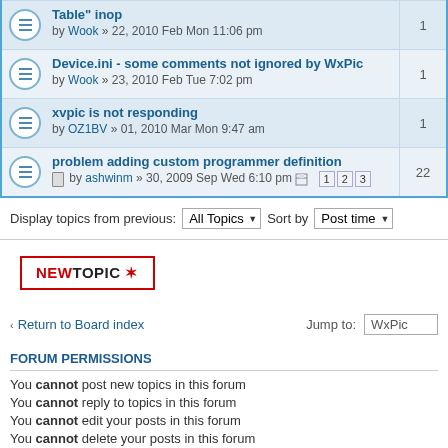Table" inop by Wook » 22, 2010 Feb Mon 11:06 pm — 1
Device.ini - some comments not ignored by WxPic by Wook » 23, 2010 Feb Tue 7:02 pm — 1
xvpic is not responding by OZ1BV » 01, 2010 Mar Mon 9:47 am — 1
problem adding custom programmer definition by ashwinm » 30, 2009 Sep Wed 6:10 pm — 22
Display topics from previous: All Topics Sort by Post time
NEWTOPIC *
Return to Board index   Jump to: WxPic
FORUM PERMISSIONS
You cannot post new topics in this forum
You cannot reply to topics in this forum
You cannot edit your posts in this forum
You cannot delete your posts in this forum
Board index   The team •
Powered by phpBB © 2000, 2002, 2005, 2007 phpBB